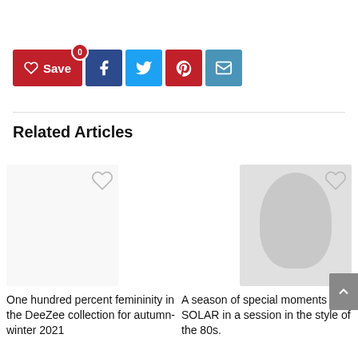[Figure (other): Social sharing buttons: Save (heart icon with badge 0), Facebook (f icon), Twitter (bird icon), Pinterest (P icon), Email (envelope icon)]
Related Articles
[Figure (other): Article thumbnail placeholder (empty, white) with heart outline icon. Article: One hundred percent femininity in the DeeZee collection for autumn-winter 2021]
One hundred percent femininity in the DeeZee collection for autumn-winter 2021
[Figure (photo): Article thumbnail with grey circular/head silhouette image and heart outline icon. Article: A season of special moments with SOLAR in a session in the style of the 80s.]
A season of special moments with SOLAR in a session in the style of the 80s.